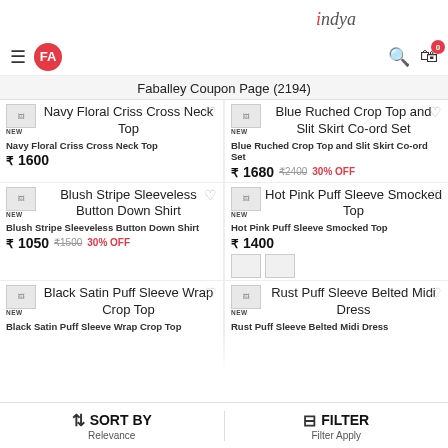FABALLEY | indya
Faballey Coupon Page (2194)
Navy Floral Criss Cross Neck Top
₹ 1600
Blue Ruched Crop Top and Slit Skirt Co-ord Set
₹ 1680  ₹2400  30% OFF
Blush Stripe Sleeveless Button Down Shirt
₹ 1050  ₹1500  30% OFF
Hot Pink Puff Sleeve Smocked Top
₹ 1400
Black Satin Puff Sleeve Wrap Crop Top
Rust Puff Sleeve Belted Midi Dress
SORT BY
Relevance | FILTER
Filter Apply